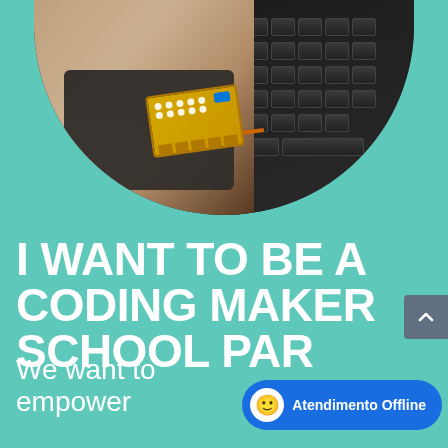[Figure (photo): A hand holding a micro:bit circuit board (gold with dots and blue LED) near a laptop keyboard, viewed from above. The photo is cropped in a rounded oval/circle shape against a teal background.]
I WANT TO BE A CODING MAKER SCHOOL PAR...
We want to empower
[Figure (screenshot): A blue chat badge/button at the bottom right with a smiley face icon and the text 'Atendimento Offline']